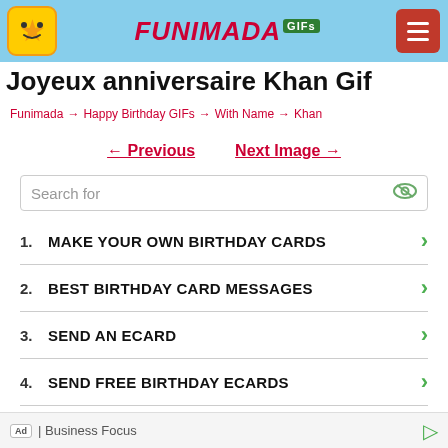FUNIMADA GIFs
Joyeux anniversaire Khan Gif
Funimada → Happy Birthday GIFs → With Name → Khan
← Previous   Next Image →
Search for
1.  MAKE YOUR OWN BIRTHDAY CARDS
2.  BEST BIRTHDAY CARD MESSAGES
3.  SEND AN ECARD
4.  SEND FREE BIRTHDAY ECARDS
5.  FREE EMAIL BIRTHDAY CARDS
6.  FREE PRINTABLE BIRTHDAY CARDS
Ad | Business Focus